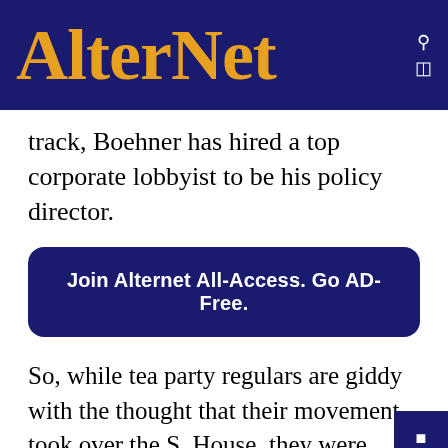AlterNet
track, Boehner has hired a top corporate lobbyist to be his policy director.
Join Alternet All-Access. Go AD-Free.
So, while tea party regulars are giddy with the thought that their movement took over the S. House, they were actually a Trojan horse. They delivered the votes to make Boehner speaker, which allowed the corporate powers to move inside, quietly take over and return Congress to business as usual.